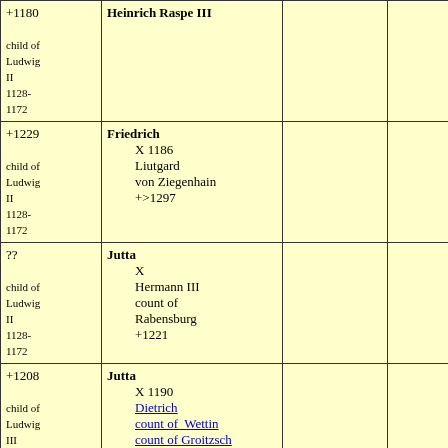| +1180

child of Ludwig II 1128-1172 | Heinrich Raspe III |  |  |
| +1229

child of Ludwig II 1128-1172 | Friedrich
    X 1186
    Liutgard
    von Ziegenhain
    +>1297 |  |  |
|  ??

child of Ludwig II 1128-1172 | Jutta
    X
    Hermann III
    count of
    Rabensburg
    +1221 |  |  |
| +1208

child of Ludwig III 1152-1190 | Jutta
    X 1190
    Dietrich
    count of Wettin
    count of Groitzsch
    1159-1207 |  |  |